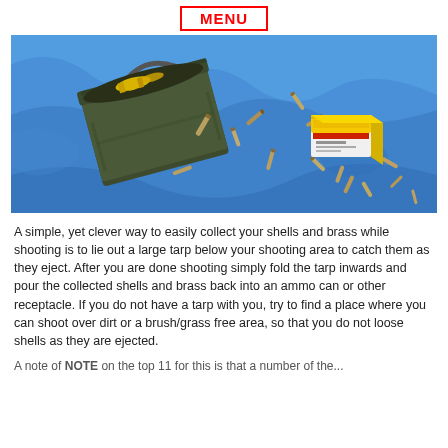MENU
[Figure (photo): An open olive-green metal ammo can tipped on its side on a blue tarp, with multiple bullet casings/brass shells and a yellow-labeled box of ammunition scattered around it on the tarp.]
A simple, yet clever way to easily collect your shells and brass while shooting is to lie out a large tarp below your shooting area to catch them as they eject. After you are done shooting simply fold the tarp inwards and pour the collected shells and brass back into an ammo can or other receptacle. If you do not have a tarp with you, try to find a place where you can shoot over dirt or a brush/grass free area, so that you do not loose shells as they are ejected.
A note of NOTE on the top 11 for this is that a number of the...